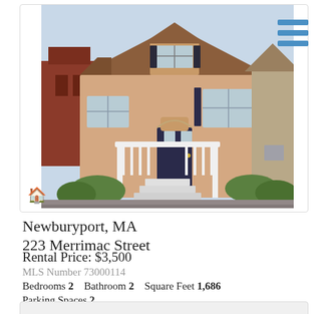[Figure (photo): Exterior photo of a residential house at 223 Merrimac Street, Newburyport MA. Two-story craftsman-style home with salmon/tan siding, dark shutters, white porch railing and stairs, dark front door with decorative arch, landscaped front yard with shrubs.]
Newburyport, MA
223 Merrimac Street
Rental Price: $3,500
MLS Number 73000114
Bedrooms 2   Bathroom 2   Square Feet 1,686
Parking Spaces 2
Listed by Melissa Silva of Churchill Properties
More Details ℹ